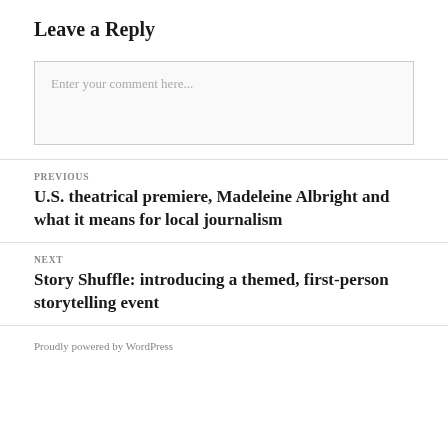Leave a Reply
Enter your comment here...
PREVIOUS
U.S. theatrical premiere, Madeleine Albright and what it means for local journalism
NEXT
Story Shuffle: introducing a themed, first-person storytelling event
Proudly powered by WordPress